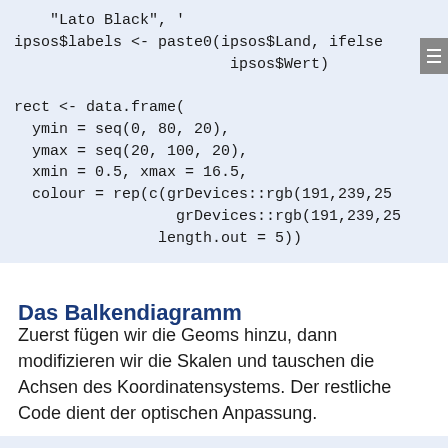"Lato Black", 
ipsos$labels <- paste0(ipsos$Land, ifelse
                        ipsos$Wert)

rect <- data.frame(
  ymin = seq(0, 80, 20),
  ymax = seq(20, 100, 20),
  xmin = 0.5, xmax = 16.5,
  colour = rep(c(grDevices::rgb(191,239,25
                  grDevices::rgb(191,239,25
                length.out = 5))
Das Balkendiagramm
Zuerst fügen wir die Geoms hinzu, dann modifizieren wir die Skalen und tauschen die Achsen des Koordinatensystems. Der restliche Code dient der optischen Anpassung.